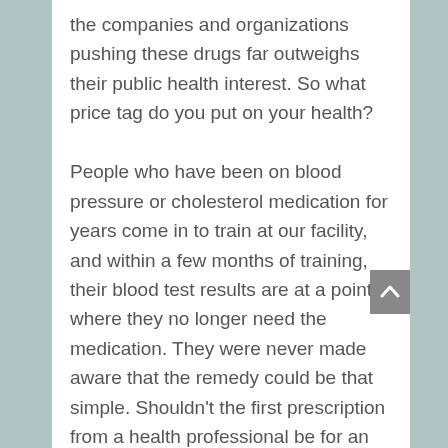the companies and organizations pushing these drugs far outweighs their public health interest. So what price tag do you put on your health?

People who have been on blood pressure or cholesterol medication for years come in to train at our facility, and within a few months of training, their blood test results are at a point where they no longer need the medication. They were never made aware that the remedy could be that simple. Shouldn't the first prescription from a health professional be for an all-natural alternative or a personalized fitness program? Exercise can be more powerful than anti-depressants, anti-anxiety medications, and more. th